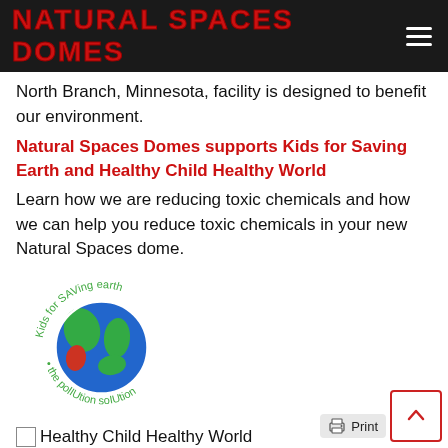NATURAL SPACES DOMES
North Branch, Minnesota, facility is designed to benefit our environment.
Natural Spaces Domes supports Kids for Saving Earth and Healthy Child Healthy World
Learn how we are reducing toxic chemicals and how we can help you reduce toxic chemicals in your new Natural Spaces dome.
[Figure (logo): Kids for Saving Earth logo — circular design with a globe showing blue oceans and green/red landmasses, surrounded by hand-lettered text reading 'Kids for SAVing earth' at the top and 'the pollution solution' at the bottom]
Healthy Child Healthy World